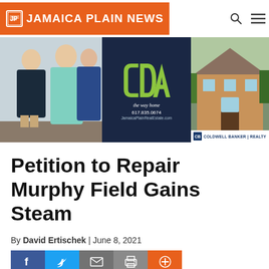Jamaica Plain News
[Figure (photo): Banner advertisement for CDA Real Estate / Coldwell Banker Realty showing two agents on the left, the CDA logo (the way home, 617.835.0674, JamaicaPlainRealEstate.com) in the center on dark navy background, and a house photo on the right with Coldwell Banker Realty logo]
Petition to Repair Murphy Field Gains Steam
By David Ertischek | June 8, 2021
[Figure (infographic): Social sharing buttons: Facebook (blue), Twitter (light blue), Email (grey), Print (grey), Plus/share (orange)]